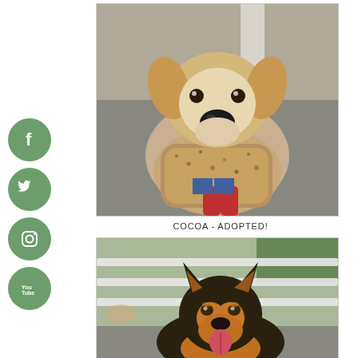[Figure (photo): Golden/beagle mix dog looking up at camera with paws raised, wearing a speckled bandana. A person in red boots and jeans is visible in background. Outdoor pavement setting.]
COCOA - ADOPTED!
[Figure (photo): German Shepherd dog sitting in front of a white fence, tongue out, looking at camera.]
[Figure (illustration): Social media icons: Facebook, Twitter, Instagram, YouTube — each in a green circle button on the left side of the page.]